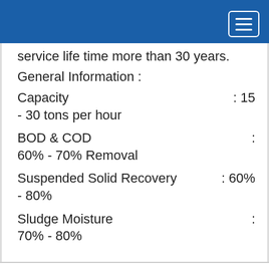service life time more than 30 years.
General Information :
Capacity                                                    : 15 - 30 tons per hour
BOD & COD                                              : 60% - 70% Removal
Suspended Solid Recovery                   : 60% - 80%
Sludge Moisture                                       : 70% - 80%